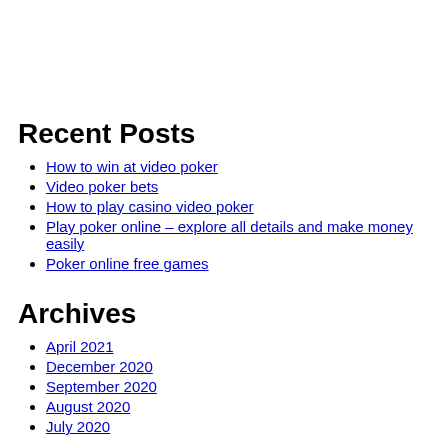Recent Posts
How to win at video poker
Video poker bets
How to play casino video poker
Play poker online – explore all details and make money easily
Poker online free games
Archives
April 2021
December 2020
September 2020
August 2020
July 2020